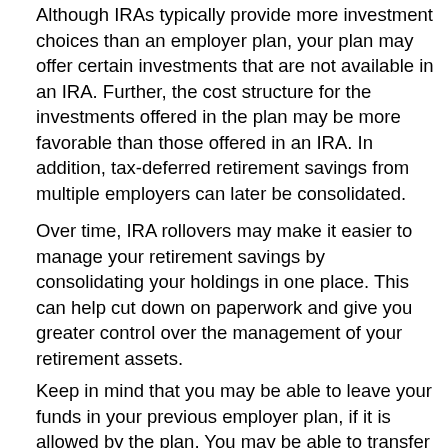Although IRAs typically provide more investment choices than an employer plan, your plan may offer certain investments that are not available in an IRA. Further, the cost structure for the investments offered in the plan may be more favorable than those offered in an IRA. In addition, tax-deferred retirement savings from multiple employers can later be consolidated.
Over time, IRA rollovers may make it easier to manage your retirement savings by consolidating your holdings in one place. This can help cut down on paperwork and give you greater control over the management of your retirement assets.
Keep in mind that you may be able to leave your funds in your previous employer plan, if it is allowed by the plan. You may be able to transfer the funds from your previous employer plan to a new employer plan (if it accepts rollover funds). While you can withdraw the funds from your employer plan as a lump sum, you could incur a potentially sizeable income tax liability in the tax year of